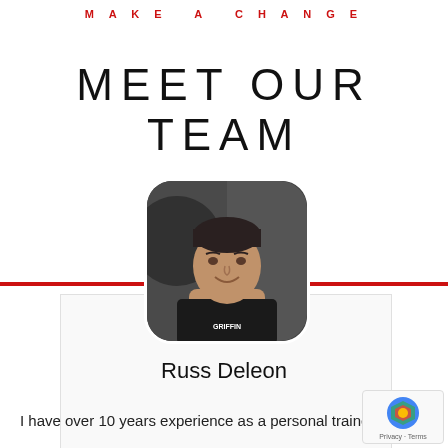MAKE A CHANGE
MEET OUR TEAM
[Figure (photo): Headshot photo of Russ Deleon, a fitness trainer wearing a black Griffin shirt, with dark hair, smiling, rounded square frame]
Russ Deleon
I have over 10 years experience as a personal trainer